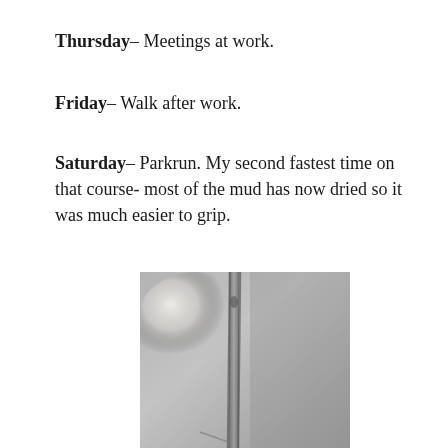Thursday– Meetings at work.
Friday– Walk after work.
Saturday– Parkrun. My second fastest time on that course- most of the mud has now dried so it was much easier to grip.
[Figure (photo): Close-up photograph of a grey zip-up hoodie/sweatshirt showing the zipper detail and fabric texture, with a bright light reflection on the upper left area.]